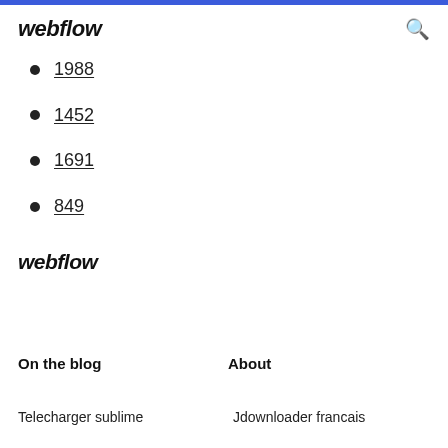webflow
1988
1452
1691
849
webflow
On the blog
About
Telecharger sublime
Jdownloader francais